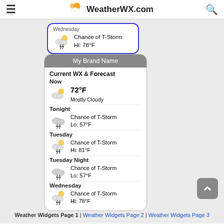WeatherWX.com
[Figure (screenshot): Partially visible Wednesday weather card with blue border showing Chance of T-Storm Hi: 78°F]
[Figure (infographic): Weather widget card titled My Brand Name showing Current WX & Forecast: Now 72°F Mostly Cloudy, Tonight Chance of T-Storm Lo: 57°F, Tuesday Chance of T-Storm Hi: 81°F, Tuesday Night Chance of T-Storm Lo: 57°F, Wednesday Chance of T-Storm Hi: 78°F]
Weather Widgets Page 1 | Weather Widgets Page 2 | Weather Widgets Page 3